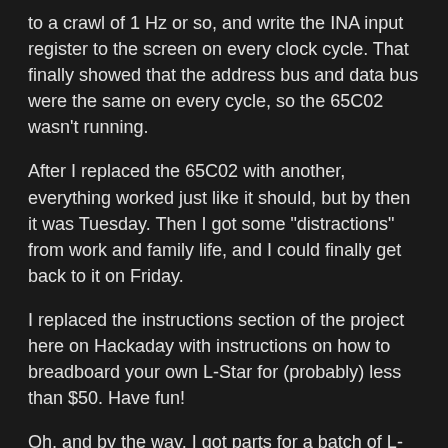to a crawl of 1 Hz or so, and write the INA input register to the screen on every clock cycle. That finally showed that the address bus and data bus were the same on every cycle, so the 65C02 wasn't running.
After I replaced the 65C02 with another, everything worked just like it should, but by then it was Tuesday. Then I got some "distractions" from work and family life, and I could finally get back to it on Friday.
I replaced the instructions section of the project here on Hackaday with instructions on how to breadboard your own L-Star for (probably) less than $50. Have fun!
Oh, and by the way, I got parts for a batch of L-Star Plus kits. It will be back in stock some time this weekend. YAY!
L-Star As a SuperCon2018 Badge Add-On
Jac Goudsmit • 11/05/2018 at 19:27 • 4 comments
the above for a long form